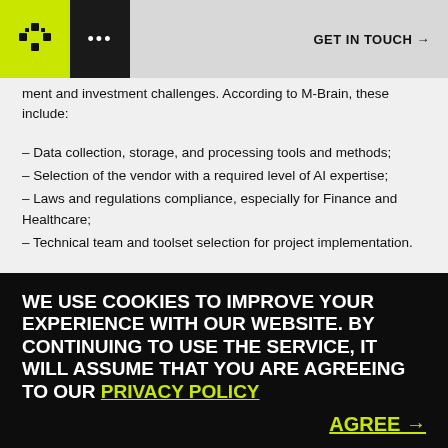... GET IN TOUCH →
ment and investment challenges. According to M-Brain, these include:
– Data collection, storage, and processing tools and methods;
– Selection of the vendor with a required level of AI expertise;
– Laws and regulations compliance, especially for Finance and Healthcare;
– Technical team and toolset selection for project implementation.
ROI of the majority of machine learning projects in the first years ranges from 2 to 5 times the cost of development. The business impact of AI implementation projects is estimated between $250,000 and $20 million. Considering the nature of AI systems, the long-term
WE USE COOKIES TO IMPROVE YOUR EXPERIENCE WITH OUR WEBSITE. BY CONTINUING TO USE THE SERVICE, IT WILL ASSUME THAT YOU ARE AGREEING TO OUR PRIVACY POLICY
AGREE →